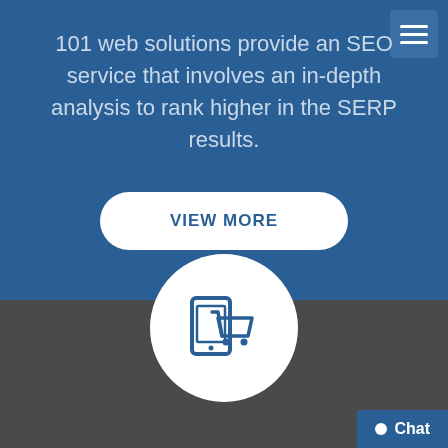101 web solutions provide an SEO service that involves an in-depth analysis to rank higher in the SERP results.
VIEW MORE
[Figure (illustration): E-commerce mobile icon: smartphone with shopping cart overlay, inside white circle on dark background]
Chat